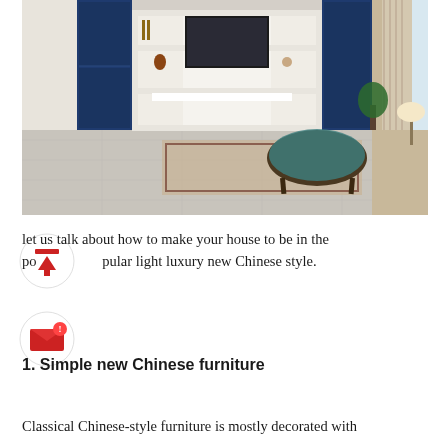[Figure (photo): Interior photo of a modern Chinese-style living room with navy blue cabinetry, built-in shelving unit with TV, marble-effect tile floor, a round coffee table, and curtained balcony door]
let us talk about how to make your house to be in the popular light luxury new Chinese style.
1. Simple new Chinese furniture
Classical Chinese-style furniture is mostly decorated with